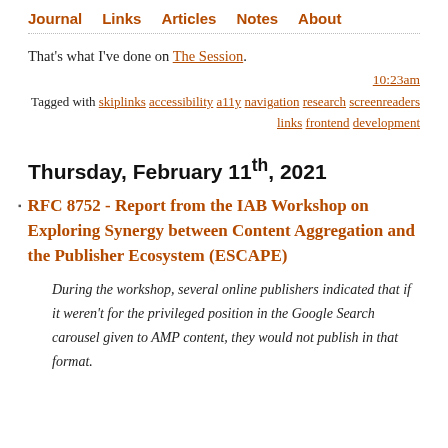Journal  Links  Articles  Notes  About
That's what I've done on The Session.
10:23am
Tagged with skiplinks accessibility a11y navigation research screenreaders links frontend development
Thursday, February 11th, 2021
RFC 8752 - Report from the IAB Workshop on Exploring Synergy between Content Aggregation and the Publisher Ecosystem (ESCAPE)
During the workshop, several online publishers indicated that if it weren't for the privileged position in the Google Search carousel given to AMP content, they would not publish in that format.